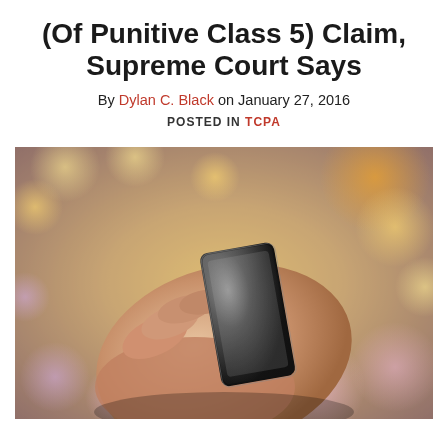(Of Punitive Class 5) Claim, Supreme Court Says
By Dylan C. Black on January 27, 2016
POSTED IN TCPA
[Figure (photo): Close-up photograph of a person's hand holding a smartphone, with bokeh background of colorful blurred lights in yellows, pinks, and purples.]